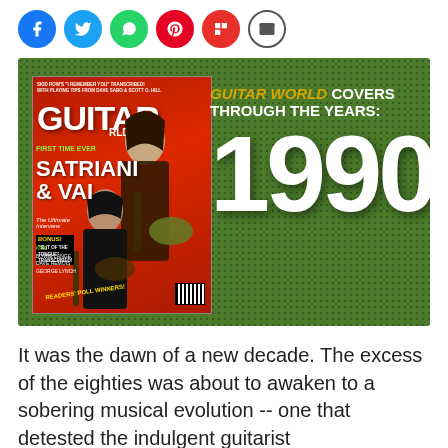[Figure (infographic): Social media share icons: Facebook (blue), Twitter (blue), WhatsApp (green), Pinterest (red), Flipboard (red), Email (white/grey)]
[Figure (photo): Guitar World magazine cover collage. Left: a Guitar World magazine cover featuring Satriani & Vai on red background. Right side on green dotted background: italic gold 'GUITAR WORLD' then white bold 'COVERS THROUGH THE YEARS:' and large white '1990']
It was the dawn of a new decade. The excess of the eighties was about to awaken to a sobering musical evolution -- one that detested the indulgent guitarist